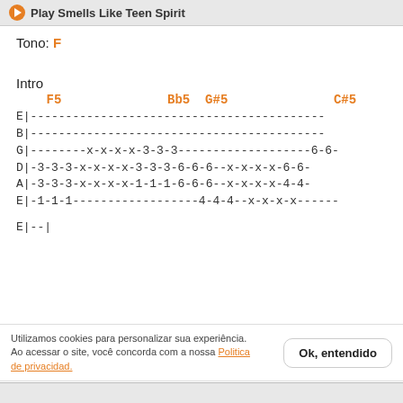Play Smells Like Teen Spirit
Tono: F
Intro
F5    Bb5  G#5              C#5
E|------------------------------------------
B|------------------------------------------
G|--------x-x-x-x-3-3-3-------------------6-6-
D|-3-3-3-x-x-x-x-3-3-3-6-6-6--x-x-x-x-6-6-
A|-3-3-3-x-x-x-x-1-1-1-6-6-6--x-x-x-x-4-4-
E|-1-1-1------------------4-4-4--x-x-x-x------
E|--|
Utilizamos cookies para personalizar sua experiência. Ao acessar o site, você concorda com a nossa Politica de privacidad.
A|4-|
E|--|